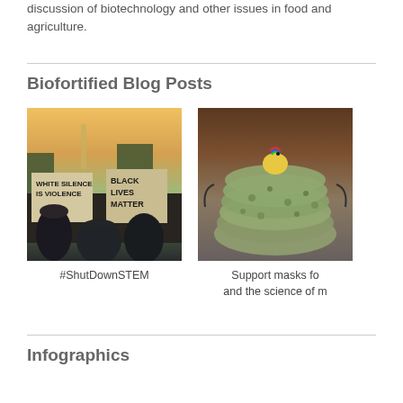discussion of biotechnology and other issues in food and agriculture.
Biofortified Blog Posts
[Figure (photo): Photo of BLM protest with signs reading 'WHITE SILENCE IS VIOLENCE' and 'BLACK LIVES MATTER']
#ShutDownSTEM
[Figure (photo): Photo of fabric face masks stacked together with a small decorative figure on top]
Support masks fo and the science of m
Infographics